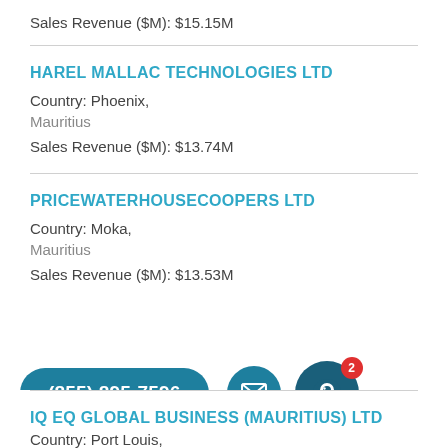Sales Revenue ($M): $15.15M
HAREL MALLAC TECHNOLOGIES LTD
Country: Phoenix,
Mauritius
Sales Revenue ($M): $13.74M
PRICEWATERHOUSECOOPERS LTD
Country: Moka,
Mauritius
Sales Revenue ($M): $13.53M
IQ EQ GLOBAL BUSINESS (MAURITIUS) LTD
Country: Port Louis,